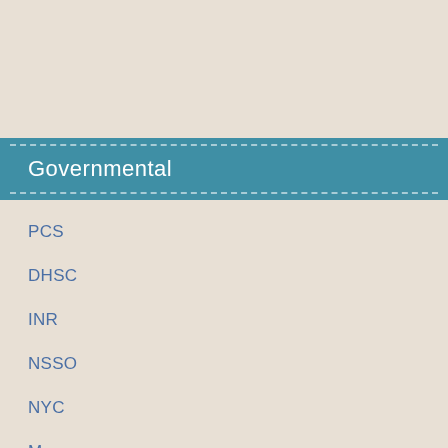Governmental
PCS
DHSC
INR
NSSO
NYC
More...
Science & Medical
ATP
AIDS Full Form
ADD